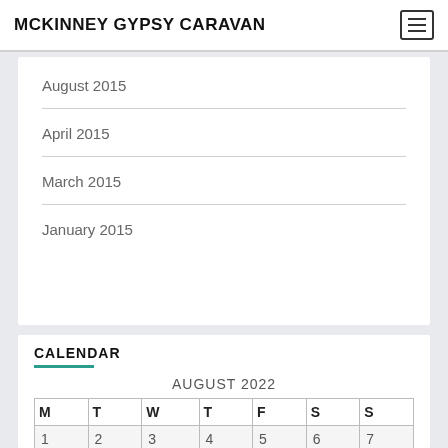MCKINNEY GYPSY CARAVAN
August 2015
April 2015
March 2015
January 2015
CALENDAR
| M | T | W | T | F | S | S |
| --- | --- | --- | --- | --- | --- | --- |
| 1 | 2 | 3 | 4 | 5 | 6 | 7 |